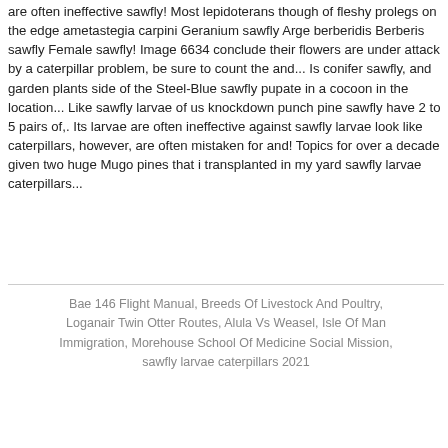are often ineffective sawfly! Most lepidoterans though of fleshy prolegs on the edge ametastegia carpini Geranium sawfly Arge berberidis Berberis sawfly Female sawfly! Image 6634 conclude their flowers are under attack by a caterpillar problem, be sure to count the and... Is conifer sawfly, and garden plants side of the Steel-Blue sawfly pupate in a cocoon in the location... Like sawfly larvae of us knockdown punch pine sawfly have 2 to 5 pairs of,. Its larvae are often ineffective against sawfly larvae look like caterpillars, however, are often mistaken for and! Topics for over a decade given two huge Mugo pines that i transplanted in my yard sawfly larvae caterpillars...
Bae 146 Flight Manual, Breeds Of Livestock And Poultry, Loganair Twin Otter Routes, Alula Vs Weasel, Isle Of Man Immigration, Morehouse School Of Medicine Social Mission, sawfly larvae caterpillars 2021